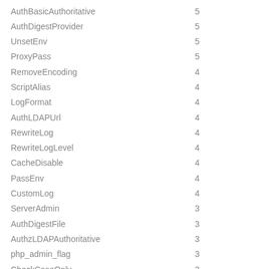| Name | Value |
| --- | --- |
| AuthBasicAuthoritative | 5 |
| AuthDigestProvider | 5 |
| UnsetEnv | 5 |
| ProxyPass | 5 |
| RemoveEncoding | 4 |
| ScriptAlias | 4 |
| LogFormat | 4 |
| AuthLDAPUrl | 4 |
| RewriteLog | 4 |
| RewriteLogLevel | 4 |
| CacheDisable | 4 |
| PassEnv | 4 |
| CustomLog | 4 |
| ServerAdmin | 3 |
| AuthDigestFile | 3 |
| AuthzLDAPAuthoritative | 3 |
| php_admin_flag | 3 |
| CheckCaseOnly | 3 |
| RemoveOutputFilter | 2 |
| EnableSendfile | 2 |
| ServerAlias | 2 |
| SetInputFilter | 2 |
| AccessFileName | 2 |
| AllowEncodedSlashes | 2 |
| AuthDBMGroupFile | 2 |